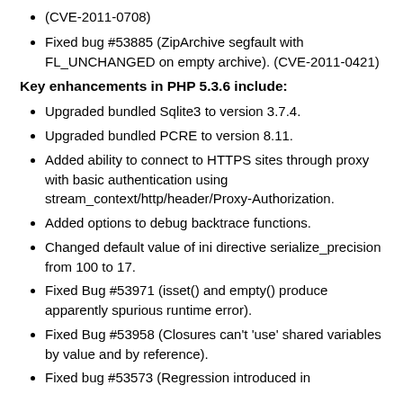(CVE-2011-0708)
Fixed bug #53885 (ZipArchive segfault with FL_UNCHANGED on empty archive). (CVE-2011-0421)
Key enhancements in PHP 5.3.6 include:
Upgraded bundled Sqlite3 to version 3.7.4.
Upgraded bundled PCRE to version 8.11.
Added ability to connect to HTTPS sites through proxy with basic authentication using stream_context/http/header/Proxy-Authorization.
Added options to debug backtrace functions.
Changed default value of ini directive serialize_precision from 100 to 17.
Fixed Bug #53971 (isset() and empty() produce apparently spurious runtime error).
Fixed Bug #53958 (Closures can't 'use' shared variables by value and by reference).
Fixed bug #53573 (Regression introduced in